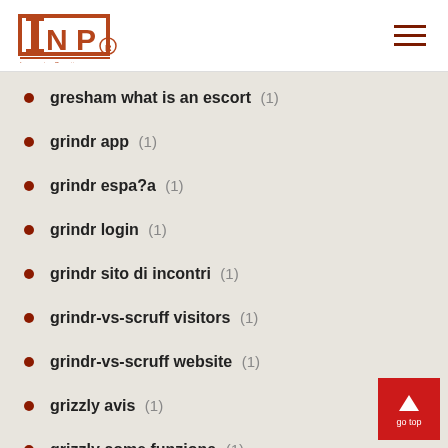INP logo and navigation
gresham what is an escort (1)
grindr app (1)
grindr espa?a (1)
grindr login (1)
grindr sito di incontri (1)
grindr-vs-scruff visitors (1)
grindr-vs-scruff website (1)
grizzly avis (1)
grizzly come funziona (1)
grizzly dating (1)
grizzly login (1)